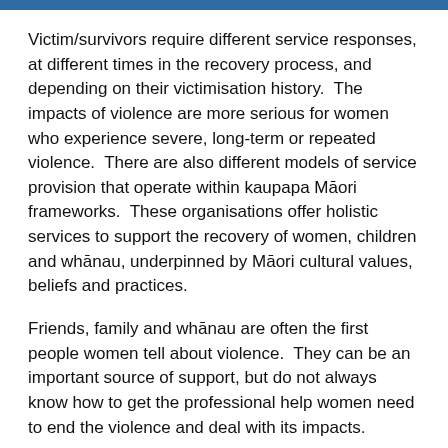Victim/survivors require different service responses, at different times in the recovery process, and depending on their victimisation history.  The impacts of violence are more serious for women who experience severe, long-term or repeated violence.  There are also different models of service provision that operate within kaupapa Māori frameworks.  These organisations offer holistic services to support the recovery of women, children and whānau, underpinned by Māori cultural values, beliefs and practices.
Friends, family and whānau are often the first people women tell about violence.  They can be an important source of support, but do not always know how to get the professional help women need to end the violence and deal with its impacts.
As a result of initiatives such as the ‘It’s not OK’ campaign, more people are taking action on IPV and family violence,